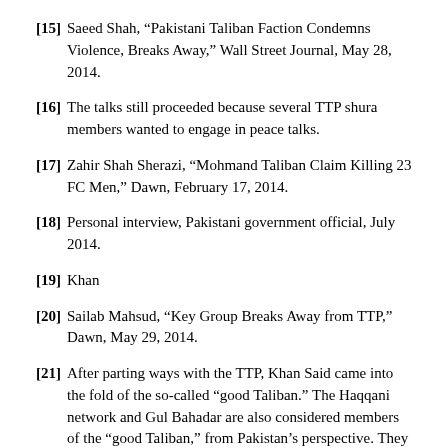[15] Saeed Shah, “Pakistani Taliban Faction Condemns Violence, Breaks Away,” Wall Street Journal, May 28, 2014.
[16] The talks still proceeded because several TTP shura members wanted to engage in peace talks.
[17] Zahir Shah Sherazi, “Mohmand Taliban Claim Killing 23 FC Men,” Dawn, February 17, 2014.
[18] Personal interview, Pakistani government official, July 2014.
[19] Khan
[20] Sailab Mahsud, “Key Group Breaks Away from TTP,” Dawn, May 29, 2014.
[21] After parting ways with the TTP, Khan Said came into the fold of the so-called “good Taliban.” The Haqqani network and Gul Bahadar are also considered members of the “good Taliban,” from Pakistan’s perspective. They do